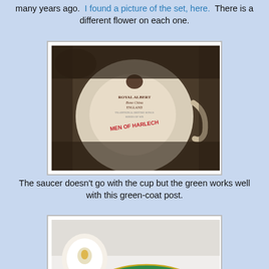many years ago. I found a picture of the set, here. There is a different flower on each one.
[Figure (photo): Bottom of a Royal Albert Bone China cup showing the maker's mark and 'MEN OF HARLECH' in red text]
The saucer doesn't go with the cup but the green works well with this green-coat post.
[Figure (photo): A green saucer with floral centre medallion next to a floral teacup on a white surface]